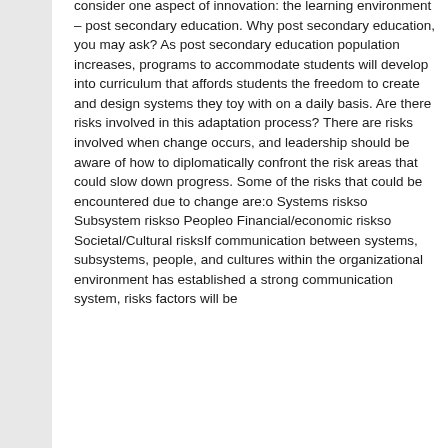consider one aspect of innovation: the learning environment – post secondary education. Why post secondary education, you may ask? As post secondary education population increases, programs to accommodate students will develop into curriculum that affords students the freedom to create and design systems they toy with on a daily basis. Are there risks involved in this adaptation process? There are risks involved when change occurs, and leadership should be aware of how to diplomatically confront the risk areas that could slow down progress. Some of the risks that could be encountered due to change are:o Systems riskso Subsystem riskso Peopleo Financial/economic riskso Societal/Cultural risksIf communication between systems, subsystems, people, and cultures within the organizational environment has established a strong communication system, risks factors will be